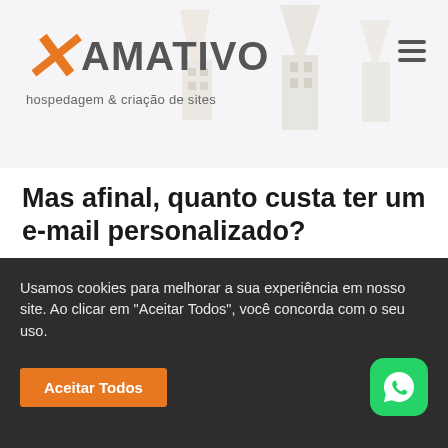[Figure (logo): Xamativo logo — orange X with 'AMATIVO' text and subtitle 'hospedagem & criação de sites']
Mas afinal, quanto custa ter um e-mail personalizado?
Se você já possui um site, o plano de hospedagem inclui também o uso de e-mails personalizados, ou seja, você
Usamos cookies para melhorar a sua experiência em nosso site. Ao clicar em "Aceitar Todos", você concorda com o seu uso.
Aceitar Todos